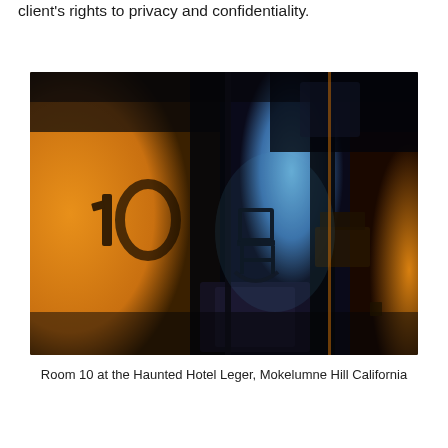client's rights to privacy and confidentiality.
[Figure (photo): Dark atmospheric photograph of Room 10 at the Haunted Hotel Leger, showing a door with the number 10 on it, illuminated by warm orange light on the left and cool blue light emanating from inside the room on the right, with a chair silhouette visible inside.]
Room 10 at the Haunted Hotel Leger, Mokelumne Hill California